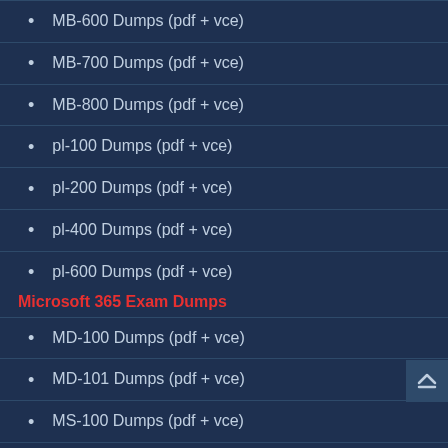MB-600 Dumps (pdf + vce)
MB-700 Dumps (pdf + vce)
MB-800 Dumps (pdf + vce)
pl-100 Dumps (pdf + vce)
pl-200 Dumps (pdf + vce)
pl-400 Dumps (pdf + vce)
pl-600 Dumps (pdf + vce)
Microsoft 365 Exam Dumps
MD-100 Dumps (pdf + vce)
MD-101 Dumps (pdf + vce)
MS-100 Dumps (pdf + vce)
MS-101 Dumps (pdf + vce)
MS-200 Dumps (pdf + vce)